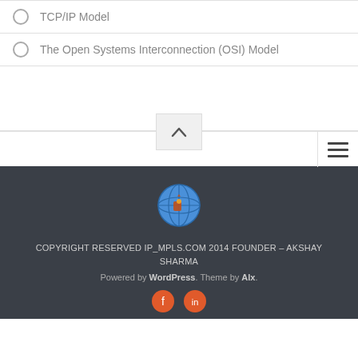TCP/IP Model
The Open Systems Interconnection (OSI) Model
[Figure (screenshot): Navigation bar with hamburger menu icon and scroll-to-top button]
COPYRIGHT RESERVED IP_MPLS.COM 2014 FOUNDER – AKSHAY SHARMA
Powered by WordPress. Theme by Alx.